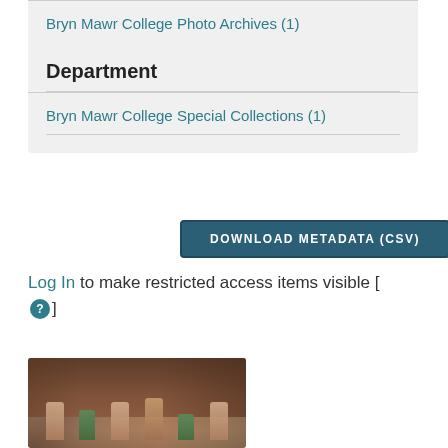Bryn Mawr College Photo Archives (1)
Department
Bryn Mawr College Special Collections (1)
DOWNLOAD METADATA (CSV)
Log In to make restricted access items visible [ ? ]
[Figure (photo): Sepia-toned photograph showing people gathered in what appears to be an indoor room or hall, with figures visible against a dark wood-paneled background.]